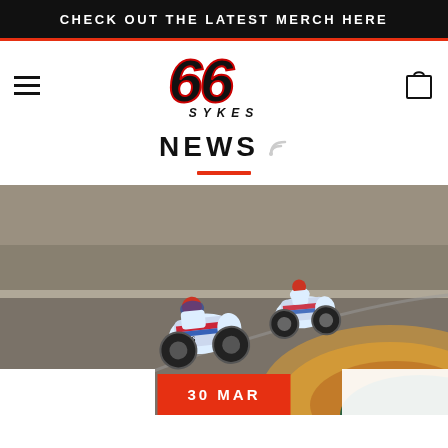CHECK OUT THE LATEST MERCH HERE
[Figure (logo): 66 SYKES logo - stylized italic bold 66 in red/black with SYKES text below]
NEWS
[Figure (photo): Two motorcycle racers on white/blue/red BMW S1000RR bikes cornering on a race track, shot from behind, with colorful curb markings visible]
30 MAR